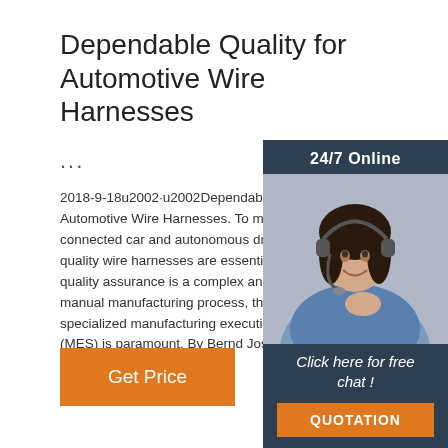Dependable Quality for Automotive Wire Harnesses
...
2018-9-18u2002·u2002Dependable Quality for Automotive Wire Harnesses. To make the connected car and autonomous driving po quality wire harnesses are essential. Since quality assurance is a complex and largely manual manufacturing process, the use of specialized manufacturing execution syste (MES) is paramount. By Bernd Jost, Mana Director, DiIT AG ...
[Figure (photo): Customer service representative with headset, smiling, overlaid with 24/7 Online label and chat widget]
Get Price